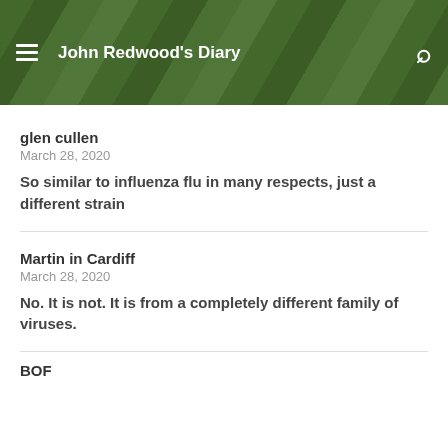John Redwood's Diary
glen cullen
March 28, 2020
So similar to influenza flu in many respects, just a different strain
Martin in Cardiff
March 28, 2020
No. It is not. It is from a completely different family of viruses.
BOF